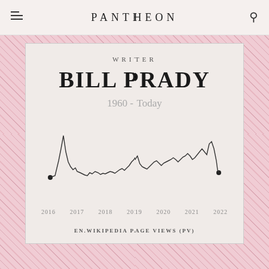PANTHEON
WRITER
BILL PRADY
1960 - Today
[Figure (continuous-plot): Line chart of EN.Wikipedia page views (PV) for Bill Prady from 2016 to 2022. The line starts with a high spike around 2016, then gradually declines with various smaller spikes through 2017-2019, a notable spike around 2020, and increased volatility toward 2021-2022 with the most recent data point marked with a filled circle.]
EN.WIKIPEDIA PAGE VIEWS (PV)